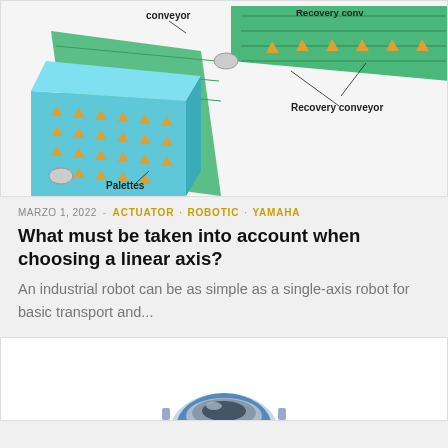[Figure (engineering-diagram): Diagram of a conveyor and recovery conveyor system with palettes. Shows a blue box filled with yellow triangle-shaped palettes on a green conveyor belt, with labels: 'conveyor', 'Recovery conveyor', 'Recovery conveyor', 'Palettes'.]
MARZO 1, 2022 - ACTUATOR · ROBOTIC · YAMAHA
What must be taken into account when choosing a linear axis?
An industrial robot can be as simple as a single-axis robot for basic transport and...
[Figure (photo): Partial view of a mechanical/robotic component, appears to be a blue and grey actuator or motor assembly, cropped at the bottom of the page.]